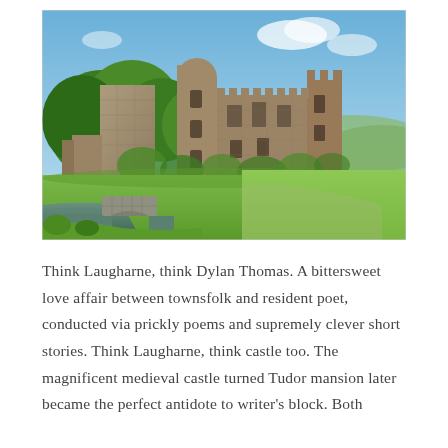[Figure (photo): Photograph of Laugharne Castle ruins in Wales. A large medieval stone castle with towers and battlements, partially ruined, surrounded by green trees and grass. In the foreground is a small stone bridge over a stream or moat, with green lawns extending to the right. Blue sky with some clouds in the background.]
Think Laugharne, think Dylan Thomas. A bittersweet love affair between townsfolk and resident poet, conducted via prickly poems and supremely clever short stories. Think Laugharne, think castle too. The magnificent medieval castle turned Tudor mansion later became the perfect antidote to writer's block. Both